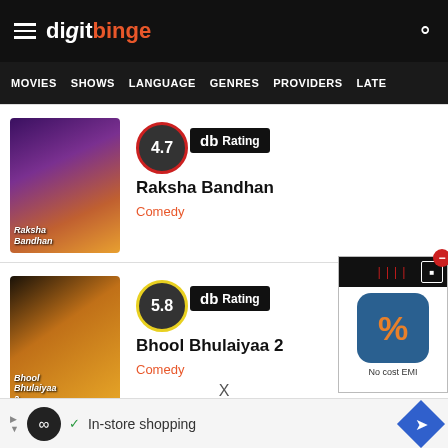digit binge
MOVIES  SHOWS  LANGUAGE  GENRES  PROVIDERS  LATE
[Figure (screenshot): Movie card: Raksha Bandhan with db rating 4.7, genre Comedy]
[Figure (screenshot): Movie card: Bhool Bhulaiyaa 2 with db rating 5.8, genre Comedy]
[Figure (advertisement): No cost EMI percentage calculator app advertisement with close button]
X
In-store shopping